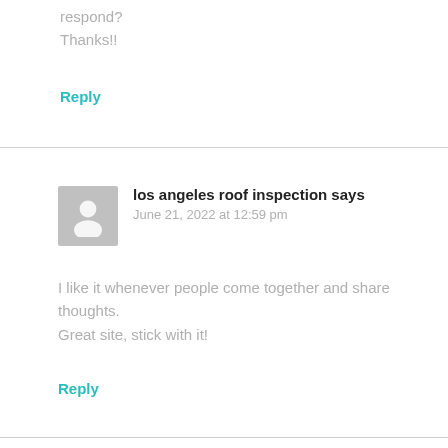respond?
Thanks!!
Reply
los angeles roof inspection says
June 21, 2022 at 12:59 pm
I like it whenever people come together and share thoughts.
Great site, stick with it!
Reply